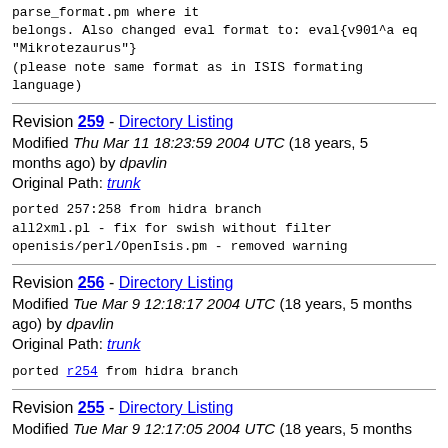parse_format.pm where it belongs. Also changed eval format to: eval{v901^a eq "Mikrotezaurus"}
(please note same format as in ISIS formating language)
Revision 259 - Directory Listing
Modified Thu Mar 11 18:23:59 2004 UTC (18 years, 5 months ago) by dpavlin
Original Path: trunk
ported 257:258 from hidra branch
all2xml.pl - fix for swish without filter
openisis/perl/OpenIsis.pm - removed warning
Revision 256 - Directory Listing
Modified Tue Mar 9 12:18:17 2004 UTC (18 years, 5 months ago) by dpavlin
Original Path: trunk
ported r254 from hidra branch
Revision 255 - Directory Listing
Modified Tue Mar 9 12:17:05 2004 UTC (18 years, 5 months ago)